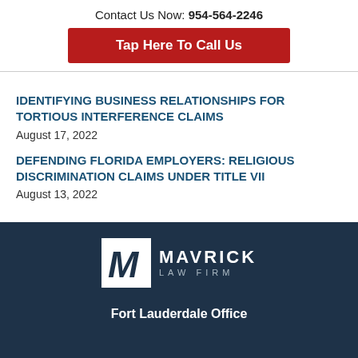Contact Us Now: 954-564-2246
Tap Here To Call Us
IDENTIFYING BUSINESS RELATIONSHIPS FOR TORTIOUS INTERFERENCE CLAIMS
August 17, 2022
DEFENDING FLORIDA EMPLOYERS: RELIGIOUS DISCRIMINATION CLAIMS UNDER TITLE VII
August 13, 2022
[Figure (logo): Mavrick Law Firm logo — white M in a white-bordered box, with MAVRICK LAW FIRM text in white on dark navy background]
Fort Lauderdale Office